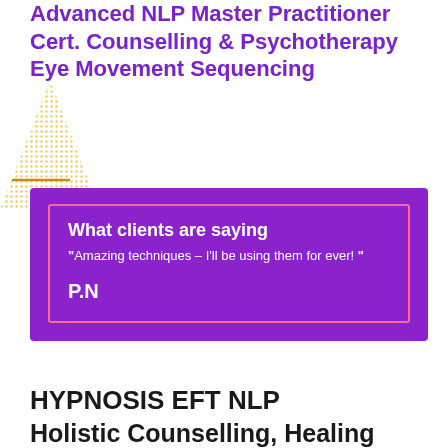Advanced NLP Master Practitioner
Cert. Counselling & Psychotherapy
Eye Movement Sequencing
[Figure (illustration): Dotted yellow triangle decoration in top-left area]
What clients are saying
"Amazing techniques – I'll be using them for ever! "
P.N
HYPNOSIS EFT NLP
Holistic Counselling, Healing